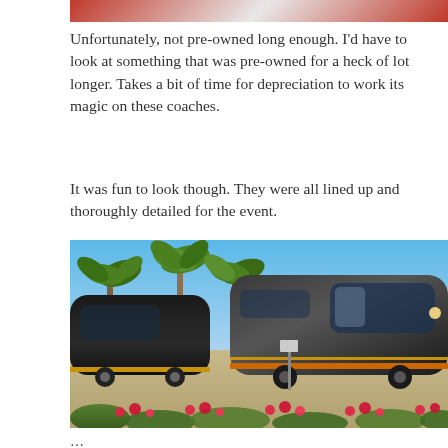[Figure (photo): Partial top image cropped — appears to show fabric or a flag with red coloring]
Unfortunately, not pre-owned long enough. I'd have to look at something that was pre-owned for a heck of lot longer. Takes a bit of time for depreciation to work its magic on these coaches.
It was fun to look though. They were all lined up and thoroughly detailed for the event.
[Figure (photo): Luxury motor coaches (large black RVs/buses) lined up in a parking area with palm trees in background and flowers in foreground, clear blue sky.]
partial text cut off at bottom of page